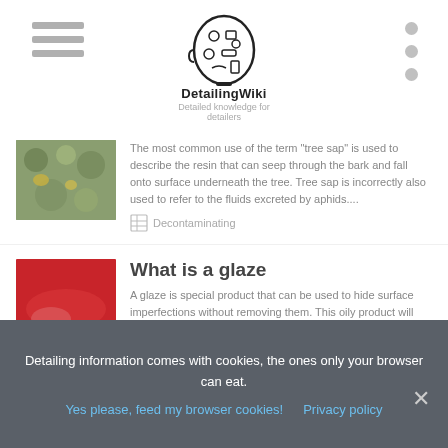[Figure (logo): DetainingWiki logo: outline of a human head filled with car detailing icons]
DetailingWiki
Detailed knowledge for detailers
[Figure (photo): Close-up photo of tree sap / resin on bark or surface]
The most common use of the term "tree sap" is used to describe the resin that can seep through the bark and fall onto surface underneath the tree. Tree sap is incorrectly also used to refer to the fluids excreted by aphids....
Decontaminating
[Figure (photo): Red car bumper with license plate CMM-2997]
What is a glaze
A glaze is special product that can be used to hide surface imperfections without removing them. This oily product will literally fill in the microscopic gaps and make the surface look shiny and without any swirls. It is popular with people who don't have a lot of time, but do want a good shine....
Detailing information comes with cookies, the ones only your browser can eat.
Yes please, feed my browser cookies!
Privacy policy